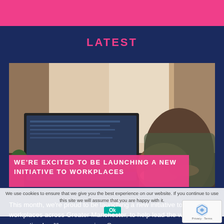LATEST
[Figure (photo): A pregnant person sitting at a desk using a laptop computer, with hands resting on belly. Blurred window background, small plant visible on left.]
WE'RE EXCITED TO BE LAUNCHING A NEW INITIATIVE TO WORKPLACES
We use cookies to ensure that we give you the best experience on our website. If you continue to use this site we will assume that you are happy with it.
This month, we're proud to be launching a new initiative to workplaces across Greater Manchester, to help lead the way supporting healthy pregnancies. Our...